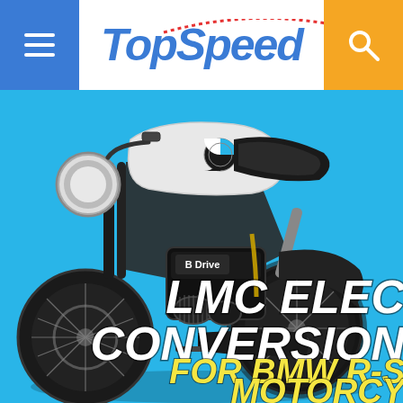TopSpeed
[Figure (photo): An electric-converted BMW R-series motorcycle with white fuel tank, round headlight, spoke wheels, and an electric motor/battery unit labeled 'B Drive' in the center frame. The background is bright blue. The bike is photographed from the left side.]
LMC ELECTRIC CONVERSION FOR BMW R-SERIES MOTORCYCLES